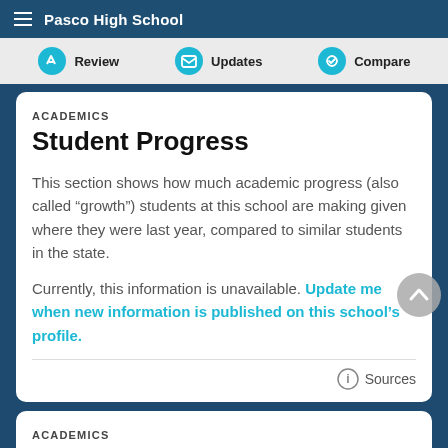Pasco High School
[Figure (screenshot): Navigation action bar with three icon buttons: Review, Updates, Compare]
ACADEMICS
Student Progress
This section shows how much academic progress (also called “growth”) students at this school are making given where they were last year, compared to similar students in the state.
Currently, this information is unavailable. Update me when new information is published on this school’s profile.
Sources
ACADEMICS